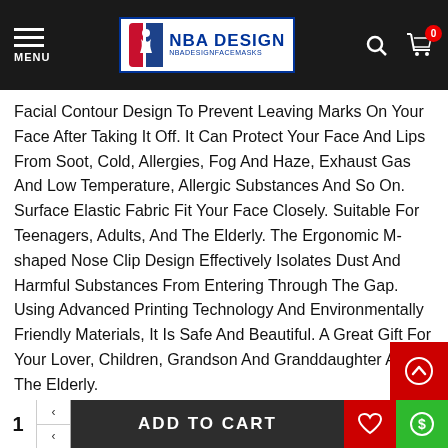NBA DESIGN NBADESIGNFACEMASKS
Facial Contour Design To Prevent Leaving Marks On Your Face After Taking It Off. It Can Protect Your Face And Lips From Soot, Cold, Allergies, Fog And Haze, Exhaust Gas And Low Temperature, Allergic Substances And So On.
Surface Elastic Fabric Fit Your Face Closely. Suitable For Teenagers, Adults, And The Elderly. The Ergonomic M-shaped Nose Clip Design Effectively Isolates Dust And Harmful Substances From Entering Through The Gap.
Using Advanced Printing Technology And Environmentally Friendly Materials, It Is Safe And Beautiful. A Great Gift For Your Lover, Children, Grandson And Granddaughter And The Elderly.
educing Dust Entering Your Mouth And Nose. The Elastic Polyester Fabric On The Surface Protects Your Face From Abrasion.
Surface Elastic Fabric Fit Your Face Closely. Suitable For Teenagers, Adults And The Elderly. The Ergonomic M-Shape
1  ADD TO CART